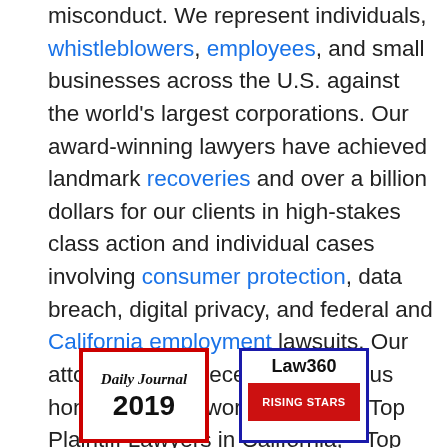misconduct. We represent individuals, whistleblowers, employees, and small businesses across the U.S. against the world's largest corporations. Our award-winning lawyers have achieved landmark recoveries and over a billion dollars for our clients in high-stakes class action and individual cases involving consumer protection, data breach, digital privacy, and federal and California employment lawsuits. Our attorneys have received numerous honors for their work, including “Top Plaintiff Lawyers in California,” “Top Class Action Attorneys Under 40,” “Consumer Protection MVP,” “Best Lawyers in America,” and “Top Cybersecurity/ Privacy Attorneys Under 40.”
[Figure (other): Daily Journal 2019 award badge with red border]
[Figure (other): Law360 award badge with blue border and red ribbon]